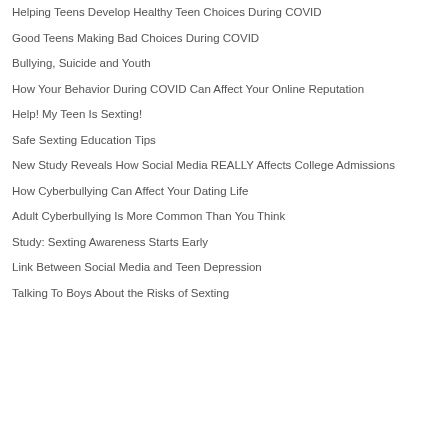Helping Teens Develop Healthy Teen Choices During COVID
Good Teens Making Bad Choices During COVID
Bullying, Suicide and Youth
How Your Behavior During COVID Can Affect Your Online Reputation
Help! My Teen Is Sexting!
Safe Sexting Education Tips
New Study Reveals How Social Media REALLY Affects College Admissions
How Cyberbullying Can Affect Your Dating Life
Adult Cyberbullying Is More Common Than You Think
Study: Sexting Awareness Starts Early
Link Between Social Media and Teen Depression
Talking To Boys About the Risks of Sexting